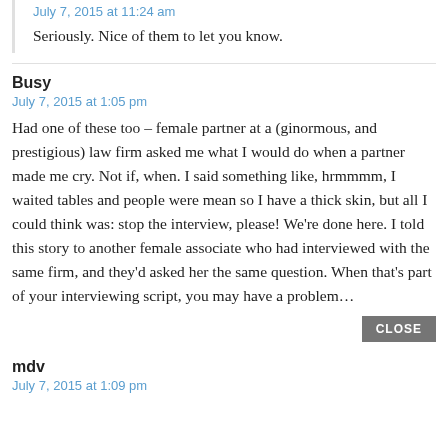July 7, 2015 at 11:24 am
Seriously. Nice of them to let you know.
Busy
July 7, 2015 at 1:05 pm
Had one of these too – female partner at a (ginormous, and prestigious) law firm asked me what I would do when a partner made me cry. Not if, when. I said something like, hrmmmm, I waited tables and people were mean so I have a thick skin, but all I could think was: stop the interview, please! We’re done here. I told this story to another female associate who had interviewed with the same firm, and they’d asked her the same question. When that’s part of your interviewing script, you may have a problem…
CLOSE
mdv
July 7, 2015 at 1:09 pm